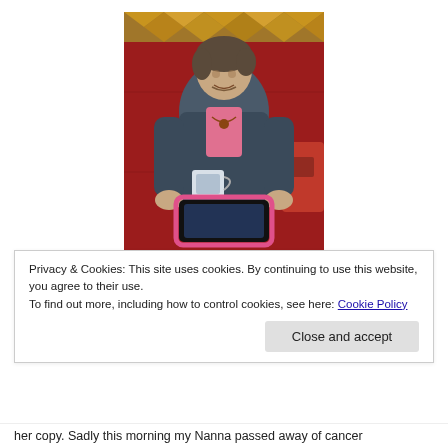[Figure (photo): Elderly woman sitting on a red sofa, wearing a blue cardigan and pink shirt, holding a mug and a tablet device with a pink case. There is a diamond-patterned fabric visible at the top of the image.]
Privacy & Cookies: This site uses cookies. By continuing to use this website, you agree to their use.
To find out more, including how to control cookies, see here: Cookie Policy
Close and accept
her copy. Sadly this morning my Nanna passed away of cancer